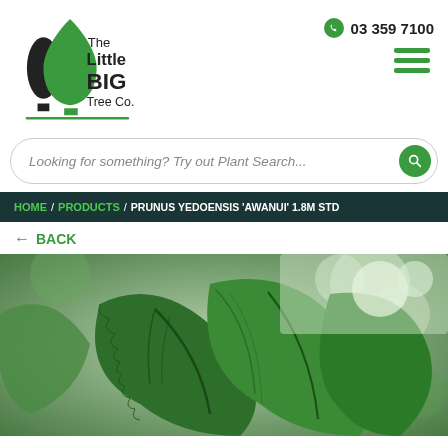[Figure (logo): The Little BIG Tree Co. logo with two tree silhouettes (black and green) and company name]
03 359 7100
Looking for something? Try out Plant Search...
HOME / PRODUCTS / PRUNUS YEDOENSIS 'AWANUI' 1.8M STD
← BACK
[Figure (photo): Close-up photo of green Prunus yedoensis leaves]